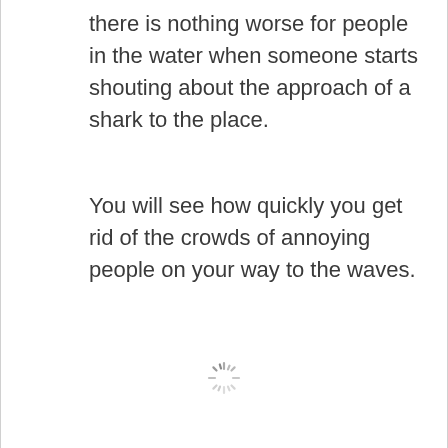there is nothing worse for people in the water when someone starts shouting about the approach of a shark to the place.
You will see how quickly you get rid of the crowds of annoying people on your way to the waves.
[Figure (other): Loading spinner icon (circular dashed loading indicator)]